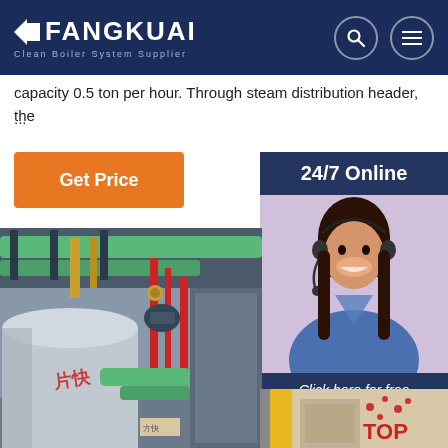FANGKUAI - Clean Boiler System Supplier
capacity 0.5 ton per hour. Through steam distribution header, the ...
Get Price
[Figure (photo): 24/7 Online customer service agent with headset, chat and quotation panel]
[Figure (photo): Industrial boiler system with green insulated pipes, red pipes, and large cylindrical boiler unit with Fangkuai logo]
[Figure (photo): TOP button panel with partial industrial equipment photo]